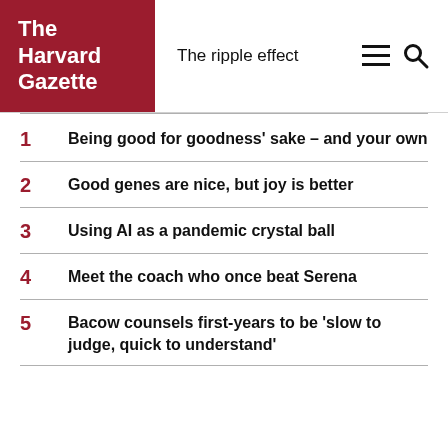The Harvard Gazette — The ripple effect
1 Being good for goodness' sake – and your own
2 Good genes are nice, but joy is better
3 Using AI as a pandemic crystal ball
4 Meet the coach who once beat Serena
5 Bacow counsels first-years to be 'slow to judge, quick to understand'